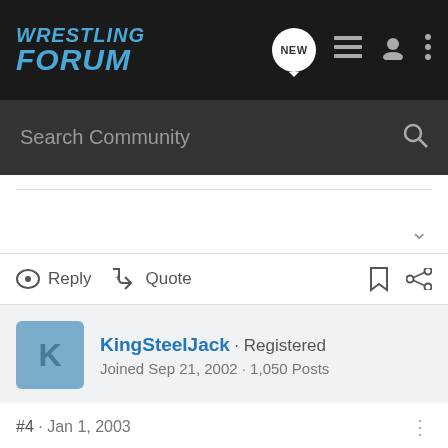[Figure (screenshot): Wrestling Forum navigation bar with logo in blue italic text, NEW badge icon, list icon, user icon, and three-dot menu icon on dark background]
[Figure (screenshot): Dark gray search bar with 'Search Community' placeholder text and magnifying glass icon]
Reply   Quote
KingSteelJack · Registered
Joined Sep 21, 2002 · 1,050 Posts
#4 · Jan 1, 2003
those smiling faces are d's